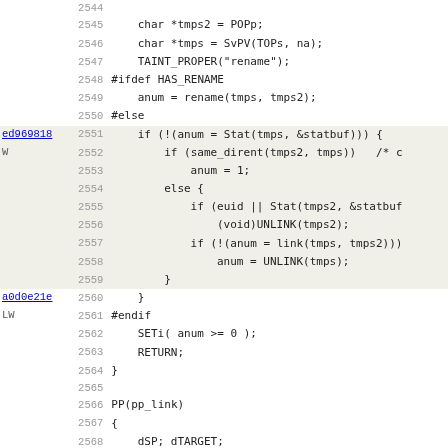Source code listing lines 2544-2575 with annotations ed969818 W (lines 2551-2559) and a0d0e21e LW (lines 2560-2561)